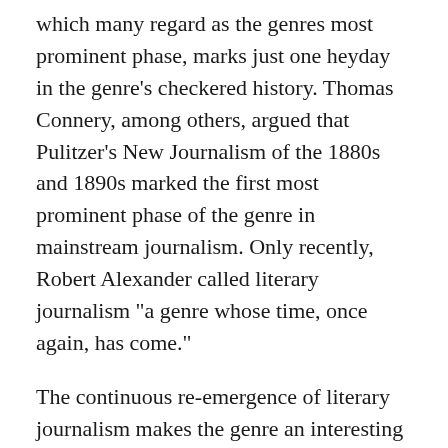which many regard as the genres most prominent phase, marks just one heyday in the genre's checkered history. Thomas Connery, among others, argued that Pulitzer's New Journalism of the 1880s and 1890s marked the first most prominent phase of the genre in mainstream journalism. Only recently, Robert Alexander called literary journalism "a genre whose time, once again, has come."
The continuous re-emergence of literary journalism makes the genre an interesting subject to study changes of media, journalism and culture. My field of research focuses on the formation phase of modern journalism in the late 19th century and explores the role of literary journalism within this process.
One of the most active fields of research in the genre has been author studies. By pointing out commendable